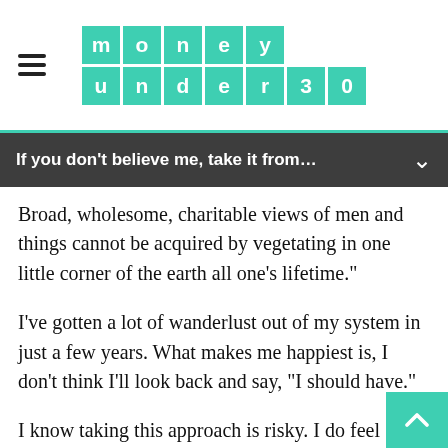money under 30
If you don’t believe me, take it from…
Broad, wholesome, charitable views of men and things cannot be acquired by vegetating in one little corner of the earth all one’s lifetime.”
I’ve gotten a lot of wanderlust out of my system in just a few years. What makes me happiest is, I don’t think I’ll look back and say, “I should have.”
I know taking this approach is risky. I do feel fortunate that it has worked out for me thus far. But if you can make travel work while you’re young—and do it responsibly—there are ways it can pay for itself.